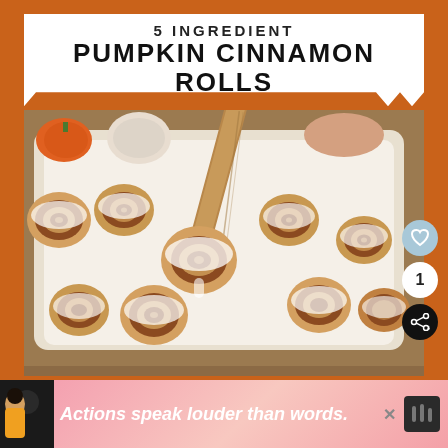5 INGREDIENT PUMPKIN CINNAMON ROLLS
[Figure (photo): Pumpkin cinnamon rolls with white frosting in a white baking dish, being scooped with a wooden spatula. Orange pumpkins visible in background.]
1
Actions speak louder than words.